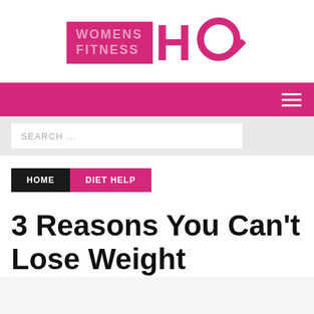[Figure (logo): Womens Fitness HQ logo with pink background text block and stylized HQ letters in pink]
Navigation bar with hamburger menu icon
SEARCH ...
HOME
DIET HELP
3 Reasons You Can’t Lose Weight